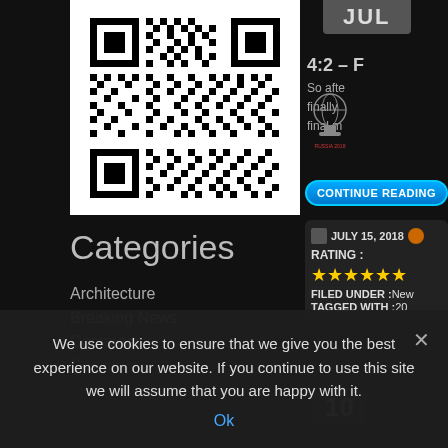[Figure (other): QR code displayed on white background]
Categories
Architecture
Breaking News
Computer
JUL
4:2 –
So afte finally final m
[Figure (logo): FIFA Russia 2018 World Cup trophy logo]
CONTINUE READING
JULY 15, 2018
RATING :
★★★★★★
FILED UNDER :New
TAGGED WITH :20
10
We use cookies to ensure that we give you the best experience on our website. If you continue to use this site we will assume that you are happy with it.
Ok